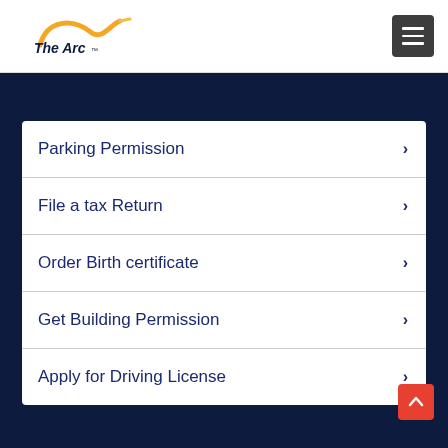[Figure (logo): The Arc Mid-Michigan logo with orange arc swoosh graphic and bold italic text]
Parking Permission
File a tax Return
Order Birth certificate
Get Building Permission
Apply for Driving License